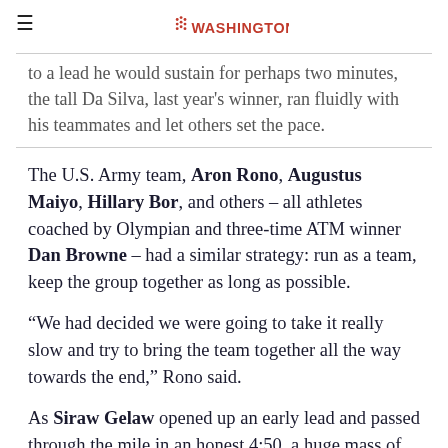Running Washington (logo)
to a lead he would sustain for perhaps two minutes, the tall Da Silva, last year's winner, ran fluidly with his teammates and let others set the pace.
The U.S. Army team, Aron Rono, Augustus Maiyo, Hillary Bor, and others – all athletes coached by Olympian and three-time ATM winner Dan Browne – had a similar strategy: run as a team, keep the group together as long as possible.
“We had decided we were going to take it really slow and try to bring the team together all the way towards the end,” Rono said.
As Siraw Gelaw opened up an early lead and passed through the mile in an honest 4:50, a huge mass of